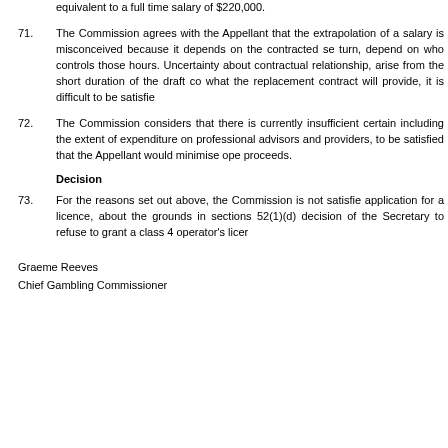equivalent to a full time salary of $220,000.
71.  The Commission agrees with the Appellant that the extrapolation of a salary is misconceived because it depends on the contracted se turn, depend on who controls those hours. Uncertainty about contractual relationship, arise from the short duration of the draft co what the replacement contract will provide, it is difficult to be satisfie
72.  The Commission considers that there is currently insufficient certain including the extent of expenditure on professional advisors and providers, to be satisfied that the Appellant would minimise ope proceeds.
Decision
73.  For the reasons set out above, the Commission is not satisfie application for a licence, about the grounds in sections 52(1)(d) decision of the Secretary to refuse to grant a class 4 operator's licer
Graeme Reeves
Chief Gambling Commissioner